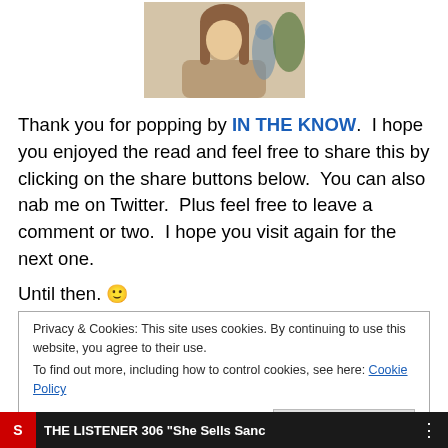[Figure (photo): Profile photo of a young woman with glasses and long brown hair, sitting indoors]
Thank you for popping by IN THE KNOW.  I hope you enjoyed the read and feel free to share this by clicking on the share buttons below.  You can also nab me on Twitter.  Plus feel free to leave a comment or two.  I hope you visit again for the next one.
Until then. 🙂
Privacy & Cookies: This site uses cookies. By continuing to use this website, you agree to their use.
To find out more, including how to control cookies, see here: Cookie Policy
Close and accept
[Figure (screenshot): Bottom banner showing podcast or media player: THE LISTENER 306 "She Sells Sanc..." with red logo and menu dots]